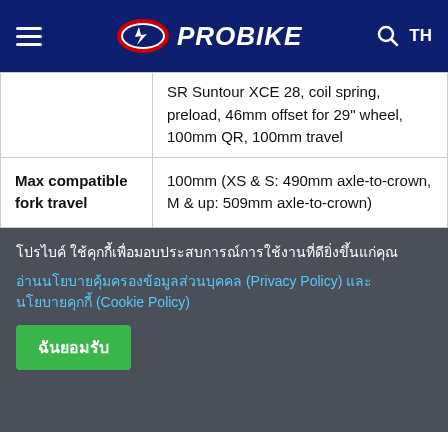PROBIKE
|  |  |
| --- | --- |
|  | SR Suntour XCE 28, coil spring, preload, 46mm offset for 29" wheel, 100mm QR, 100mm travel |
| Max compatible fork travel | 100mm (XS & S: 490mm axle-to-crown, M & up: 509mm axle-to-crown) |
โปรไบค์ ใช้คุกกี้เพื่อมอบประสบการณ์การใช้งานที่ดียิ่งขึ้นแก่คุณ
อ่านนโยบายคุ้มครองข้อมูลส่วนบุคคล (Privacy Policy) และ นโยบายคุกกี้ (Cookie Policy)
ฉันยอมรับ
Wheels
| Hub |  |
| --- | --- |
| Hub | Bontrager alloy, 6-bolt, Boost110, 15mm thru axle |
| Hub | Bontrager alloy, sealed bearin... |